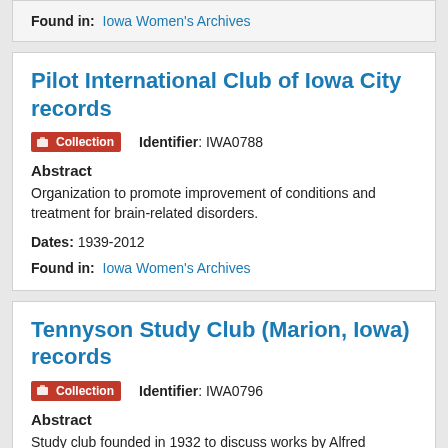Found in: Iowa Women's Archives
Pilot International Club of Iowa City records
Collection   Identifier: IWA0788
Abstract
Organization to promote improvement of conditions and treatment for brain-related disorders.
Dates: 1939-2012
Found in: Iowa Women's Archives
Tennyson Study Club (Marion, Iowa) records
Collection   Identifier: IWA0796
Abstract
Study club founded in 1932 to discuss works by Alfred Tennyson; it later expanded its focus to include charitable and community-based activities.